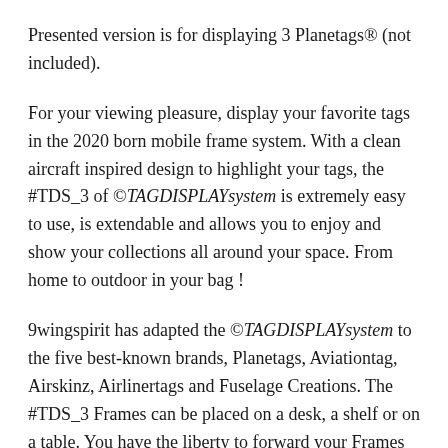Presented version is for displaying 3 Planetags® (not included).
For your viewing pleasure, display your favorite tags in the 2020 born mobile frame system. With a clean aircraft inspired design to highlight your tags, the #TDS_3 of ©TAGDISPLAYsystem is extremely easy to use, is extendable and allows you to enjoy and show your collections all around your space. From home to outdoor in your bag !
9wingspirit has adapted the ©TAGDISPLAYsystem to the five best-known brands, Planetags, Aviationtag, Airskinz, Airlinertags and Fuselage Creations. The #TDS_3 Frames can be placed on a desk, a shelf or on a table. You have the liberty to forward your Frames at your convenience and highlight your favorite tags, front and back. The frames are interchangeables, hyper modular and